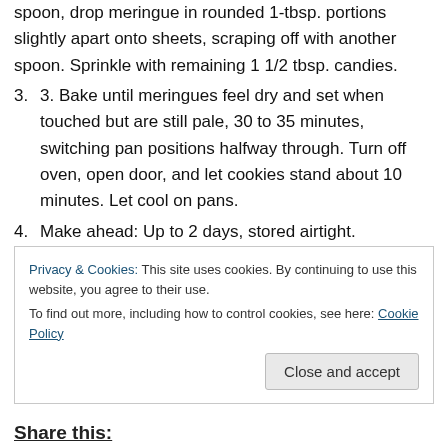spoon, drop meringue in rounded 1-tbsp. portions slightly apart onto sheets, scraping off with another spoon. Sprinkle with remaining 1 1/2 tbsp. candies.
3. Bake until meringues feel dry and set when touched but are still pale, 30 to 35 minutes, switching pan positions halfway through. Turn off oven, open door, and let cookies stand about 10 minutes. Let cool on pans.
4. Make ahead: Up to 2 days, stored airtight.
Privacy & Cookies: This site uses cookies. By continuing to use this website, you agree to their use.
To find out more, including how to control cookies, see here: Cookie Policy
Close and accept
Share this: